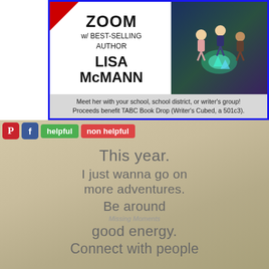[Figure (infographic): Zoom with Best-Selling Author Lisa McMann promotional ad with blue border and red corner, featuring animated book cover artwork]
ZOOM w/ BEST-SELLING AUTHOR LISA McMANN
Meet her with your school, school district, or writer's group! Proceeds benefit TABC Book Drop (Writer's Cubed, a 501c3).
[Figure (infographic): Inspirational quote image with beige/tan gradient background reading: This year. I just wanna go on more adventures. Be around good energy. Connect with people. Missing Moments]
This year.
I just wanna go on more
adventures.
Be around
good energy.
Connect with people
Missing Moments